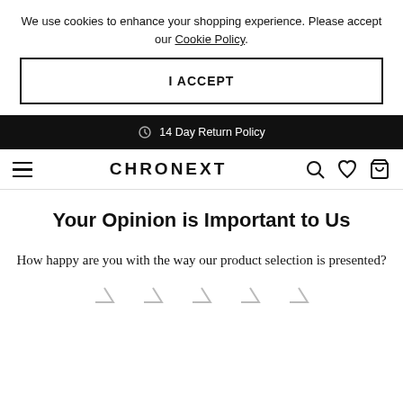We use cookies to enhance your shopping experience. Please accept our Cookie Policy.
I ACCEPT
14 Day Return Policy
CHRONEXT
Your Opinion is Important to Us
How happy are you with the way our product selection is presented?